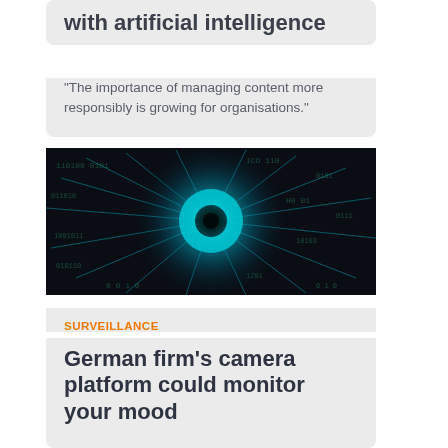with artificial intelligence
"The importance of managing content more responsibly is growing for organisations."
[Figure (photo): Digital eye made of binary code with glowing cyan light burst on dark background, representing surveillance and artificial intelligence]
SURVEILLANCE
German firm's camera platform could monitor your mood